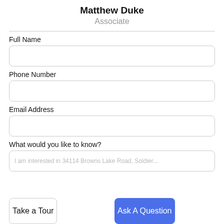Matthew Duke
Associate
Full Name
Phone Number
Email Address
What would you like to know?
I am interested in 34114 Browns Lake Road, Soldier...
Take a Tour
Ask A Question